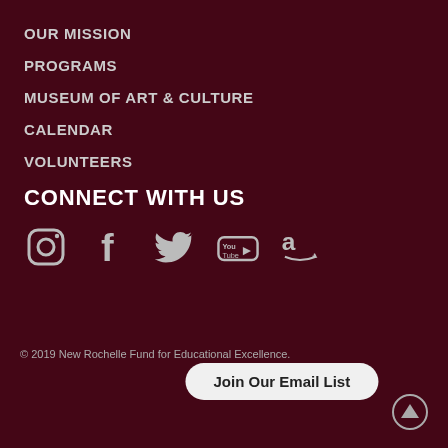OUR MISSION
PROGRAMS
MUSEUM OF ART & CULTURE
CALENDAR
VOLUNTEERS
CONNECT WITH US
[Figure (infographic): Social media icons: Instagram, Facebook, Twitter, YouTube, Amazon]
© 2019 New Rochelle Fund for Educational Excellence.
Join Our Email List